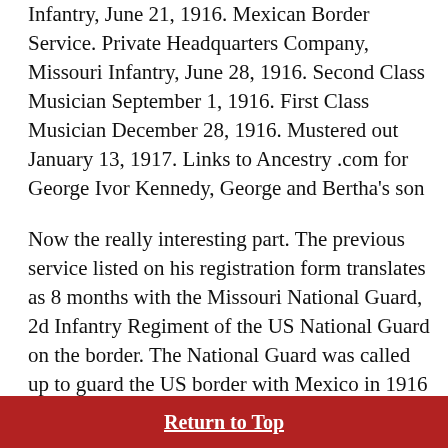Infantry, June 21, 1916. Mexican Border Service. Private Headquarters Company, Missouri Infantry, June 28, 1916. Second Class Musician September 1, 1916. First Class Musician December 28, 1916. Mustered out January 13, 1917. Links to Ancestry .com for George Ivor Kennedy, George and Bertha's son
Now the really interesting part. The previous service listed on his registration form translates as 8 months with the Missouri National Guard, 2d Infantry Regiment of the US National Guard on the border. The National Guard was called up to guard the US border with Mexico in 1916 following Pancho Villa's raid on Columbus NM. The 2d Mo Infantry served in the area of Laredo Texas.
Return to Top